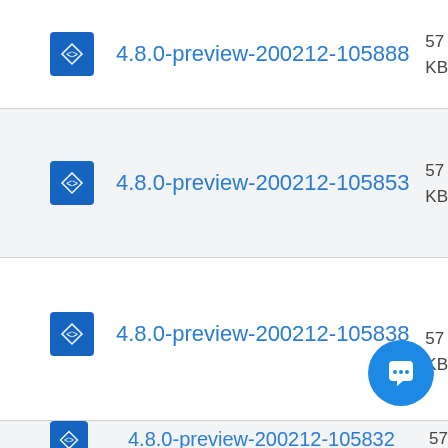4.8.0-preview-200212-105888
4.8.0-preview-200212-105853
4.8.0-preview-200212-105838
4.8.0-preview-200212-105832